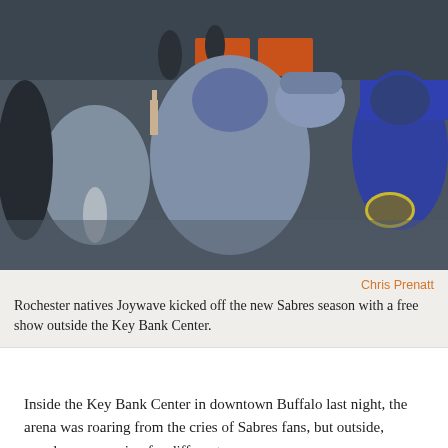[Figure (photo): Crowd of people seen from behind watching a band perform on stage outdoors, with amplifiers and band equipment visible.]
Chris Prenatt
Rochester natives Joywave kicked off the new Sabres season with a free show outside the Key Bank Center.
Inside the Key Bank Center in downtown Buffalo last night, the arena was roaring from the cries of Sabres fans, but outside, people were roaring for different reasons.
Rochester based indie rock group Joywave played a free show outside the Key Bank Center right near the French Connection statue. The show sponsored by the Sabres helped kick off the new hockey season in Buffalo. It was a free show so anyone could come in and watch.
The band composed of vocalist Daniel Armbruster, guitarist Joseph